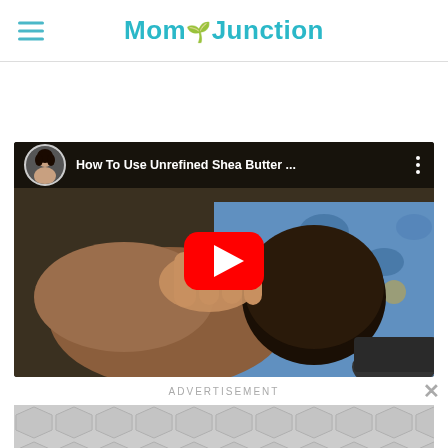MomJunction
[Figure (screenshot): YouTube video thumbnail showing a baby being massaged, with video title 'How To Use Unrefined Shea Butter ...' and a red YouTube play button in the center]
ADVERTISEMENT
[Figure (infographic): Gray geometric hexagon/diamond pattern advertisement placeholder]